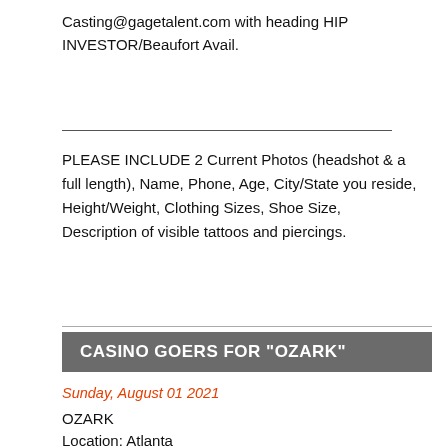Casting@gagetalent.com with heading HIP INVESTOR/Beaufort Avail.
PLEASE INCLUDE 2 Current Photos (headshot & a full length), Name, Phone, Age, City/State you reside, Height/Weight, Clothing Sizes, Shoe Size, Description of visible tattoos and piercings.
CASINO GOERS FOR "OZARK"
Sunday, August 01 2021
OZARK
Location: Atlanta